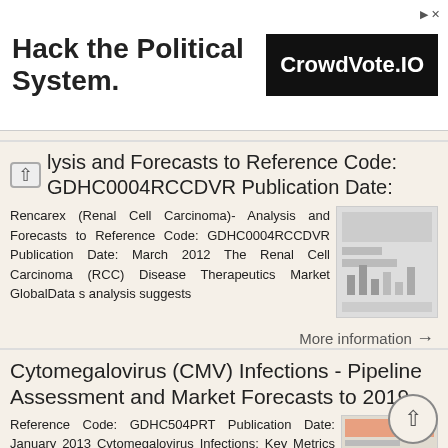[Figure (screenshot): Advertisement banner: 'Hack the Political System.' text on left, CrowdVote.IO logo in black box on right]
lysis and Forecasts to Reference Code: GDHC0004RCCDVR Publication Date:
Rencarex (Renal Cell Carcinoma)- Analysis and Forecasts to Reference Code: GDHC0004RCCDVR Publication Date: March 2012 The Renal Cell Carcinoma (RCC) Disease Therapeutics Market GlobalData s analysis suggests
More information →
Cytomegalovirus (CMV) Infections - Pipeline Assessment and Market Forecasts to 2019
Reference Code: GDHC504PRT Publication Date: January 2013 Cytomegalovirus Infections: Key Metrics in Seven Major